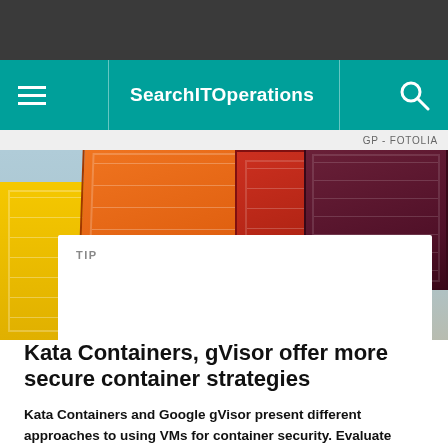SearchITOperations
[Figure (photo): Colorful shipping containers (yellow, orange, red, dark maroon) stacked and arranged against a light blue sky background]
GP - FOTOLIA
TIP
Kata Containers, gVisor offer more secure container strategies
Kata Containers and Google gVisor present different approaches to using VMs for container security. Evaluate their advantages to get insight into the future of container